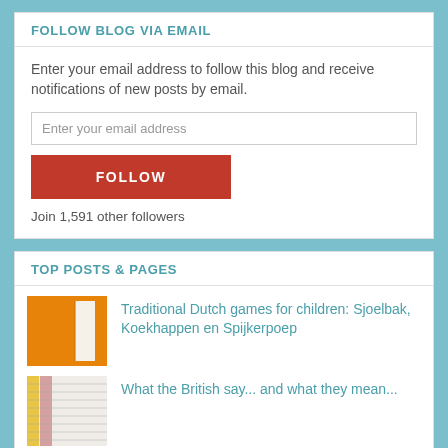FOLLOW BLOG VIA EMAIL
Enter your email address to follow this blog and receive notifications of new posts by email.
Join 1,591 other followers
TOP POSTS & PAGES
Traditional Dutch games for children: Sjoelbak, Koekhappen en Spijkerpoep
What the British say... and what they mean...
Is "saudade" really untranslatable?